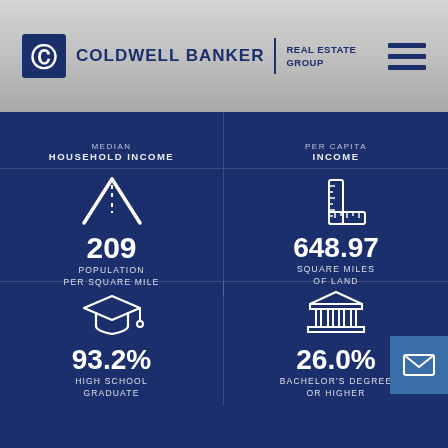[Figure (logo): Coldwell Banker Real Estate Group logo with CB icon]
[Figure (infographic): Road/highway icon representing population density]
209
POPULATION PER SQUARE MILE
[Figure (infographic): Ruler/measurement icon representing square miles]
648.97
SQUARE MILES OF LAND
MEDIAN HOUSEHOLD INCOME
PER CAPITA INCOME
[Figure (infographic): Graduation cap icon representing education level]
93.2%
HIGH SCHOOL GRADUATE
[Figure (infographic): Classical building/institution icon representing bachelor's degree]
26.0%
BACHELOR'S DEGREE OR HIGHER